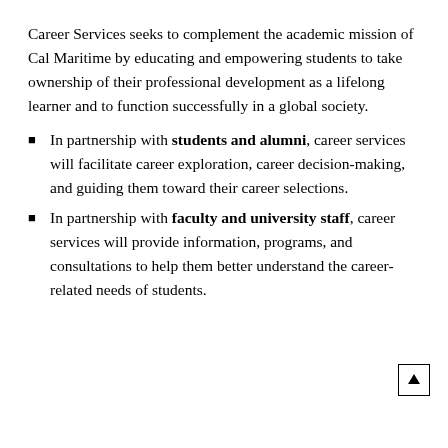Career Services seeks to complement the academic mission of Cal Maritime by educating and empowering students to take ownership of their professional development as a lifelong learner and to function successfully in a global society.
In partnership with students and alumni, career services will facilitate career exploration, career decision-making, and guiding them toward their career selections.
In partnership with faculty and university staff, career services will provide information, programs, and consultations to help them better understand the career-related needs of students.